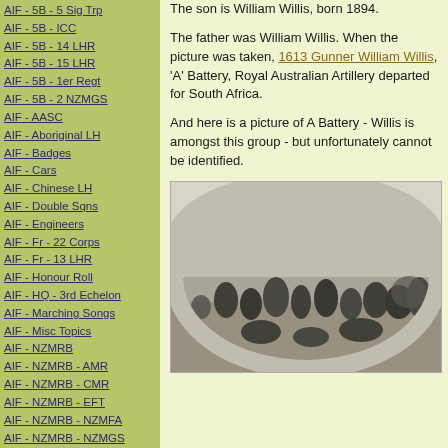AIF - 5B - 5 Sig Trp
AIF - 5B - ICC
AIF - 5B - 14 LHR
AIF - 5B - 15 LHR
AIF - 5B - 1er Regt
AIF - 5B - 2 NZMGS
AIF - AASC
AIF - Aboriginal LH
AIF - Badges
AIF - Cars
AIF - Chinese LH
AIF - Double Sqns
AIF - Engineers
AIF - Fr - 22 Corps
AIF - Fr - 13 LHR
AIF - Honour Roll
AIF - HQ - 3rd Echelon
AIF - Marching Songs
AIF - Misc Topics
AIF - NZMRB
AIF - NZMRB - AMR
AIF - NZMRB - CMR
AIF - NZMRB - EFT
AIF - NZMRB - NZMFA
AIF - NZMRB - NZMGS
AIF - NZMRB - OMR
AIF - NZMRB - Sig-Trp
AIF - NZMRB - WMR
The son is William Willis, born 1894.
The father was William Willis. When the picture was taken, 1613 Gunner William Willis, 'A' Battery, Royal Australian Artillery departed for South Africa.
And here is a picture of A Battery - Willis is amongst this group - but unfortunately cannot be identified.
[Figure (photo): Black and white historical photograph of A Battery group, soldiers gathered outdoors, oval-framed composition]